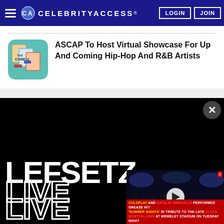CELEBRITYACCESS. LOGIN JOIN
ASCAP To Host Virtual Showcase For Up And Coming Hip-Hop And R&B Artists
[Figure (screenshot): CelebrityAccess website screenshot showing a Lefsetz Live promotional image overlaid with a mini video player. The Lefsetz image has large bold white text reading LEFSETZ LIVE LIVE on black background. The mini video shows a concert stage scene with a play button, a red network logo, and a caption: COLDPLAY AND NATALIE IMBRUGLIA PERFORMED GREASE HIT 'SUMMER NIGHTS' IN TRIBUTE TO THE LATE OLIVIA NEWTON-JOHN AT WEMBLEY STADIUM ON TUESDAY NIGHT. A close (X) button is visible in the upper right of the overlay.]